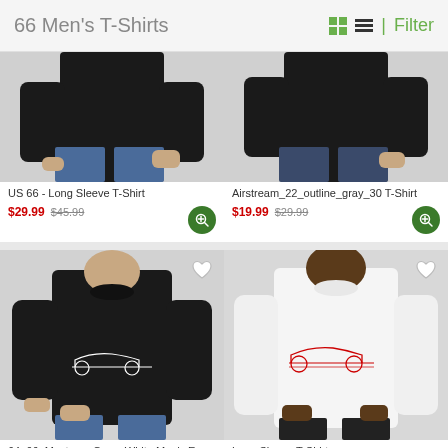66 Men's T-Shirts
[Figure (photo): Man wearing black long sleeve t-shirt, US 66 design, cropped at waist]
[Figure (photo): Man wearing black t-shirt, Airstream outline gray design, cropped at waist]
US 66 - Long Sleeve T-Shirt
$29.99  $45.99
Airstream_22_outline_gray_30 T-Shirt
$19.99  $29.99
[Figure (photo): Man wearing black t-shirt with white car silhouette graphic, 64_66 Mustang Conv design]
[Figure (photo): Man wearing white long sleeve t-shirt with red car silhouette graphic]
64_66_Mustang_Conv_White Men's Eco Sport T-Shirt
$31.00  $47.99
Long Sleeve T-Shirt
$27.99  $42.99